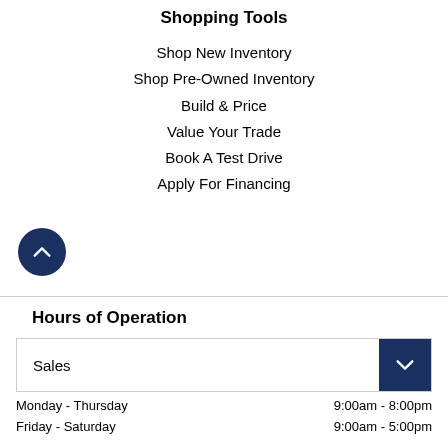Shopping Tools
Shop New Inventory
Shop Pre-Owned Inventory
Build & Price
Value Your Trade
Book A Test Drive
Apply For Financing
Hours of Operation
| Department | Hours |
| --- | --- |
| Monday - Thursday | 9:00am - 8:00pm |
| Friday - Saturday | 9:00am - 5:00pm |